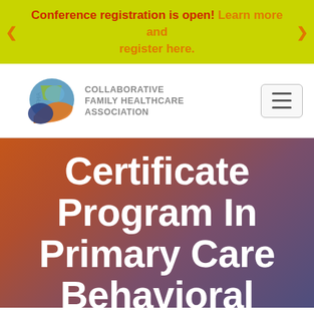Conference registration is open! Learn more and register here.
[Figure (logo): CFHA - Collaborative Family Healthcare Association logo with colorful swoosh graphic]
Certificate Program In Primary Care Behavioral